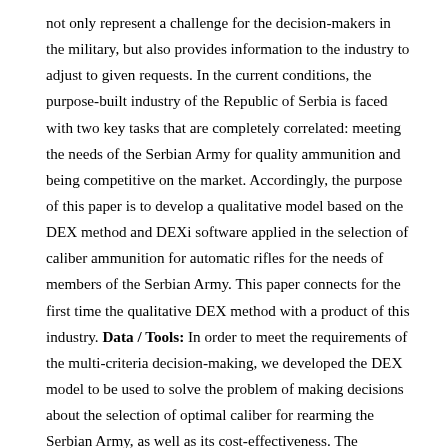not only represent a challenge for the decision-makers in the military, but also provides information to the industry to adjust to given requests. In the current conditions, the purpose-built industry of the Republic of Serbia is faced with two key tasks that are completely correlated: meeting the needs of the Serbian Army for quality ammunition and being competitive on the market. Accordingly, the purpose of this paper is to develop a qualitative model based on the DEX method and DEXi software applied in the selection of caliber ammunition for automatic rifles for the needs of members of the Serbian Army. This paper connects for the first time the qualitative DEX method with a product of this industry. Data / Tools: In order to meet the requirements of the multi-criteria decision-making, we developed the DEX model to be used to solve the problem of making decisions about the selection of optimal caliber for rearming the Serbian Army, as well as its cost-effectiveness. The alternatives are calibers for automatic rifles 7.62 mm